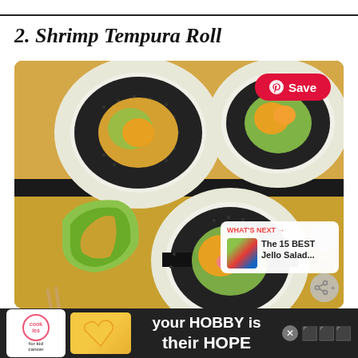2. Shrimp Tempura Roll
[Figure (photo): Close-up photo of shrimp tempura sushi rolls on a yellow/golden plate, showing cross-section with shrimp, avocado, cucumber, and sesame seeds on rice. A Pinterest Save button is overlaid in the top right. Heart and share icons on the right side. A 'What's Next' panel showing 'The 15 BEST Jello Salad...' in the bottom right corner.]
your HOBBY is their HOPE
[Figure (advertisement): Dark ad bar at the bottom with 'cookies for kid cancer' logo, a cookie/heart image, text 'your HOBBY is their HOPE' and www icon on the right.]